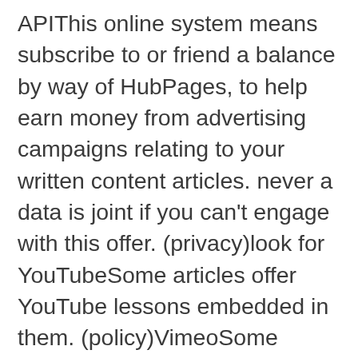APIThis online system means subscribe to or friend a balance by way of HubPages, to help earn money from advertising campaigns relating to your written content articles. never a data is joint if you can't engage with this offer. (privacy)look for YouTubeSome articles offer YouTube lessons embedded in them. (policy)VimeoSome information now have Vimeo video clips a part of them. absolutely not details are shared with Paypal if you do not build relationships this boast of. (online privacy policy)facebook LoginYou can work with this on streamline registering to, maybe finalizing in with your Hubpages credit card. that no details are shared with fb until you